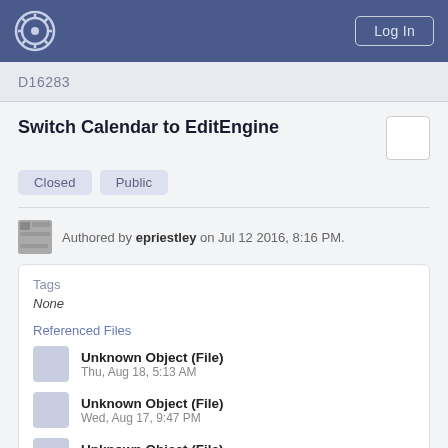Log In
D16283
Switch Calendar to EditEngine
Closed  Public
Authored by epriestley on Jul 12 2016, 8:16 PM.
Tags
None
Referenced Files
Unknown Object (File)
Thu, Aug 18, 5:13 AM
Unknown Object (File)
Wed, Aug 17, 9:47 PM
Unknown Object (File)
Tue, Aug 16, 1:58 PM
Unknown Object (File)